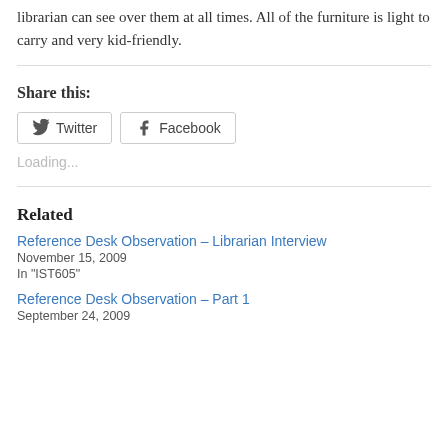librarian can see over them at all times. All of the furniture is light to carry and very kid-friendly.
Share this:
[Figure (other): Twitter and Facebook share buttons]
Loading...
Related
Reference Desk Observation – Librarian Interview
November 15, 2009
In "IST605"
Reference Desk Observation – Part 1
September 24, 2009